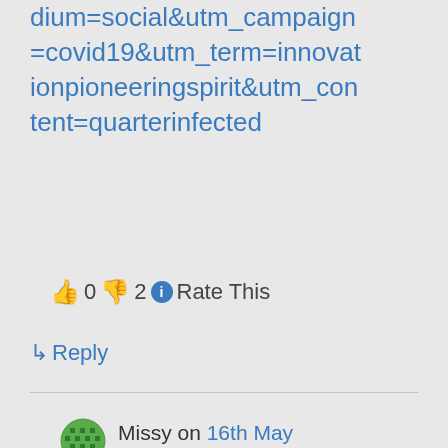dium=social&utm_campaign=covid19&utm_term=innovationpioneeringspirit&utm_content=quarterinfected
👍 0 👎 2 ℹ Rate This
↳ Reply
Missy on 16th May 2020 at 2:25 am
The number could possibly be higher than 25%, those reports are based on the virus not being